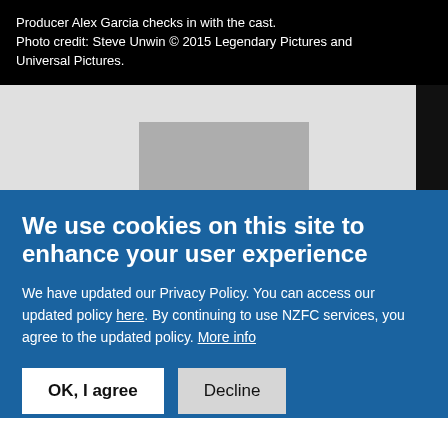Producer Alex Garcia checks in with the cast. Photo credit: Steve Unwin © 2015 Legendary Pictures and Universal Pictures.
[Figure (photo): Partially visible photo placeholder with grey background and a darker rectangular element in the center-right area, with a black strip on the far right edge.]
We use cookies on this site to enhance your user experience
We have updated our Privacy Policy. You can access our updated policy here. By continuing to use NZFC services, you agree to the updated policy. More info
OK, I agree | Decline